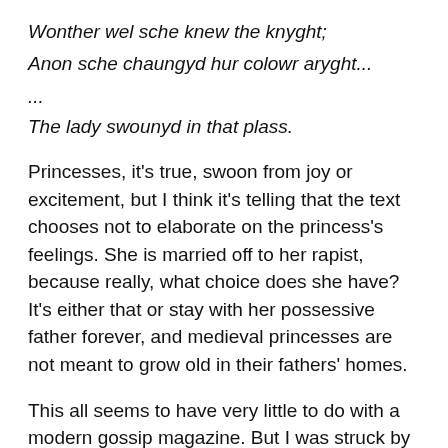Wonther wel sche knew the knyght;
Anon sche chaungyd hur colowr aryght...
...
The lady swounyd in that plass.
Princesses, it's true, swoon from joy or excitement, but I think it's telling that the text chooses not to elaborate on the princess's feelings. She is married off to her rapist, because really, what choice does she have? It's either that or stay with her possessive father forever, and medieval princesses are not meant to grow old in their fathers' homes.
This all seems to have very little to do with a modern gossip magazine. But I was struck by the ways in which cultures that normalise rape also normalise trivialising